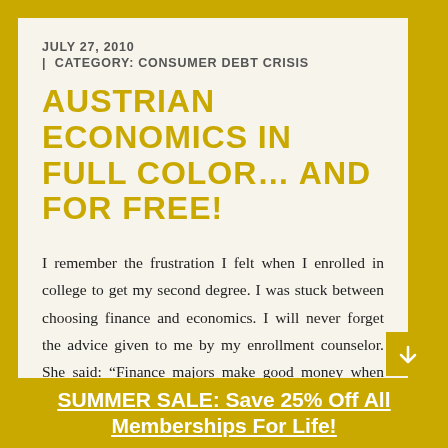JULY 27, 2010
| CATEGORY: CONSUMER DEBT CRISIS
AUSTRIAN ECONOMICS IN FULL COLOR… AND FOR FREE!
I remember the frustration I felt when I enrolled in college to get my second degree. I was stuck between choosing finance and economics. I will never forget the advice given to me by my enrollment counselor. She said: “Finance majors make good money when they get out of school,
SUMMER SALE: Save 25% Off All Memberships For Life!